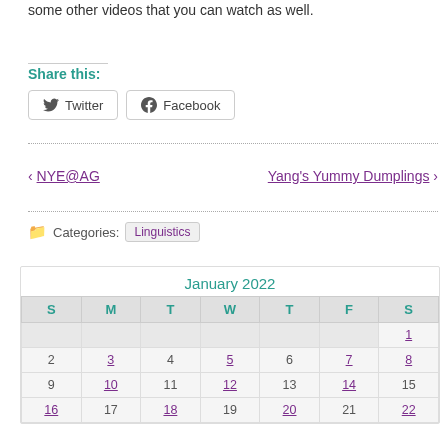some other videos that you can watch as well.
Share this:
Twitter  Facebook
‹ NYE@AG    Yang's Yummy Dumplings ›
Categories: Linguistics
| S | M | T | W | T | F | S |
| --- | --- | --- | --- | --- | --- | --- |
|  |  |  |  |  |  | 1 |
| 2 | 3 | 4 | 5 | 6 | 7 | 8 |
| 9 | 10 | 11 | 12 | 13 | 14 | 15 |
| 16 | 17 | 18 | 19 | 20 | 21 | 22 |